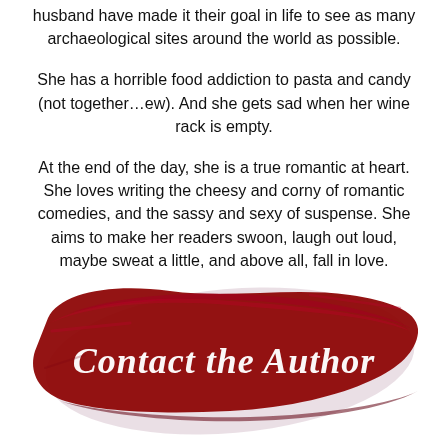husband have made it their goal in life to see as many archaeological sites around the world as possible.
She has a horrible food addiction to pasta and candy (not together…ew). And she gets sad when her wine rack is empty.
At the end of the day, she is a true romantic at heart. She loves writing the cheesy and corny of romantic comedies, and the sassy and sexy of suspense. She aims to make her readers swoon, laugh out loud, maybe sweat a little, and above all, fall in love.
[Figure (illustration): A decorative red brushstroke / paint splash banner with the cursive white text 'Contact the Author' written over it.]